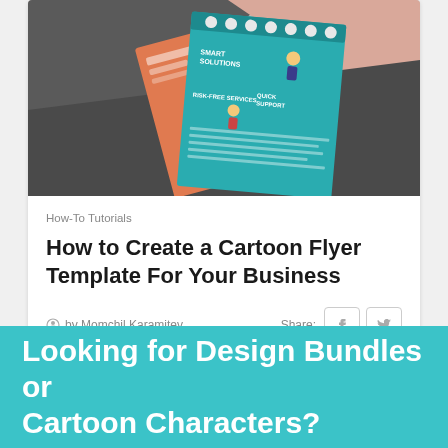[Figure (photo): Photo of cartoon-style brochures/flyers fanned out on a grey and pink background, showing teal and orange illustrated booklets with text like 'Smart Solutions', 'Risk-Free Services', 'Quick Support'.]
How-To Tutorials
How to Create a Cartoon Flyer Template For Your Business
by Momchil Karamitev
Looking for Design Bundles or Cartoon Characters?